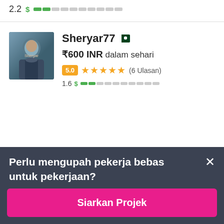2.2  $ [bar]
[Figure (screenshot): Profile card for user Sheryar77 with Pakistan flag, price ₹600 INR dalam sehari, rating 5.0 with 5 stars (6 Ulasan), and level bar 1.6]
Sheryar77
₹600 INR dalam sehari
5.0 ★★★★★ (6 Ulasan)
1.6 $ [bar]
Perlu mengupah pekerja bebas untuk pekerjaan?
Siarkan Projek